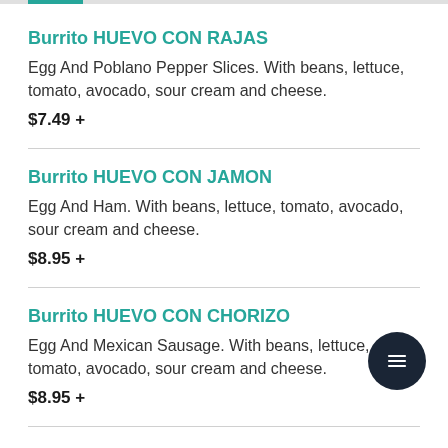Burrito HUEVO CON RAJAS
Egg And Poblano Pepper Slices. With beans, lettuce, tomato, avocado, sour cream and cheese.
$7.49 +
Burrito HUEVO CON JAMON
Egg And Ham. With beans, lettuce, tomato, avocado, sour cream and cheese.
$8.95 +
Burrito HUEVO CON CHORIZO
Egg And Mexican Sausage. With beans, lettuce, tomato, avocado, sour cream and cheese.
$8.95 +
BURRITO (DINNER)
Burrito with Your Choice of Meat. With Beans, Lettuce,